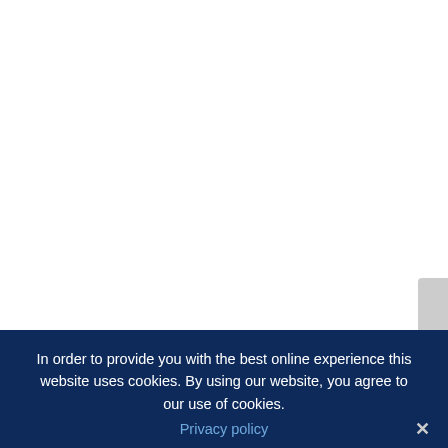[Figure (other): Blank white page area — main content region of a website, mostly empty/white]
In order to provide you with the best online experience this website uses cookies. By using our website, you agree to our use of cookies.
Privacy policy